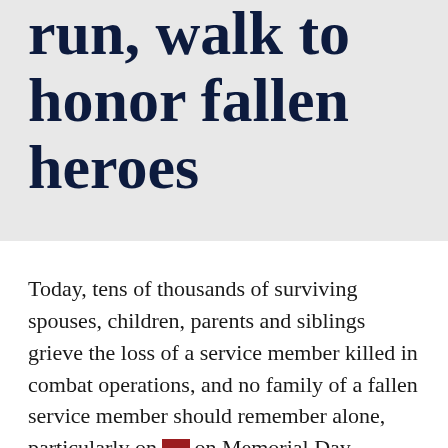Community run, walk to honor fallen heroes
Today, tens of thousands of surviving spouses, children, parents and siblings grieve the loss of a service member killed in combat operations, and no family of a fallen service member should remember alone, particularly on Memorial Day.